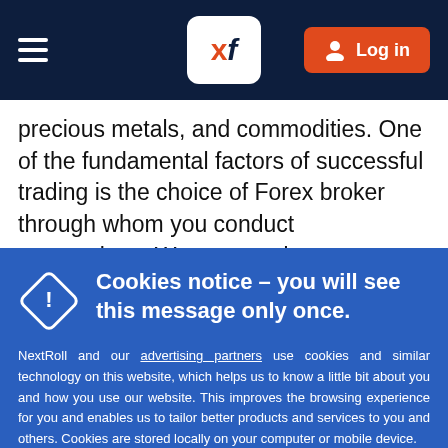XF Logo — Log in
precious metals, and commodities. One of the fundamental factors of successful trading is the choice of Forex broker through whom you conduct transactions. We want to draw your attention to some advantages of Forex Trading with PaxForex, which will
Cookies notice – you will see this message only once.

NextRoll and our advertising partners use cookies and similar technology on this website, which helps us to know a little bit about you and how you use our website. This improves the browsing experience for you and enables us to tailor better products and services to you and others. Cookies are stored locally on your computer or mobile device.

To accept cookies continue browsing as normal or go to the https://paxforex.org/privacy_policy for more information.

Got it!